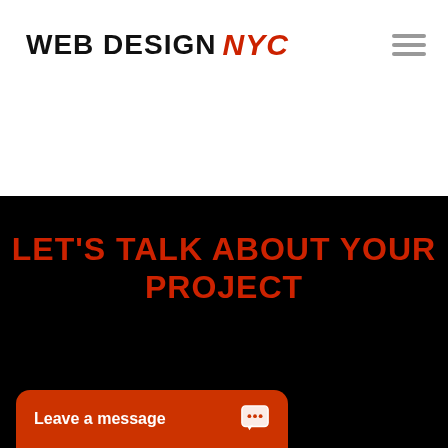WEB DESIGN NYC
LET'S TALK ABOUT YOUR PROJECT
Leave a message